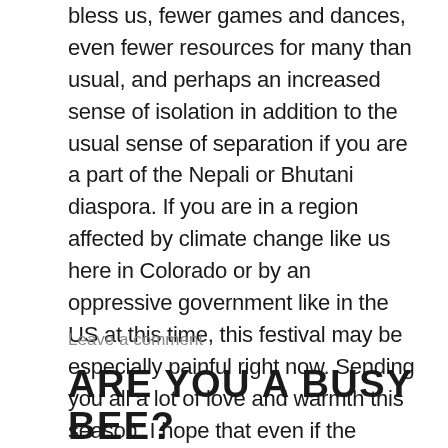bless us, fewer games and dances, even fewer resources for many than usual, and perhaps an increased sense of isolation in addition to the usual sense of separation if you are a part of the Nepali or Bhutani diaspora. If you are in a region affected by climate change like us here in Colorado or by an oppressive government like in the US at this time, this festival may be especially painful right now. Sending you all a lot of love and warmth this season. I hope that even if the incredible social aspect of this festival is absent right now, a sense of love and belonging, of playfulness, and of fighting for the good of our communities are present and palpable.
Leave a comment
ARE YOU A BUSY BEE?